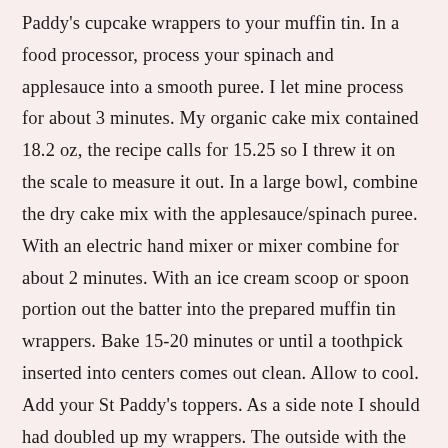Paddy's cupcake wrappers to your muffin tin. In a food processor, process your spinach and applesauce into a smooth puree. I let mine process for about 3 minutes. My organic cake mix contained 18.2 oz, the recipe calls for 15.25 so I threw it on the scale to measure it out. In a large bowl, combine the dry cake mix with the applesauce/spinach puree. With an electric hand mixer or mixer combine for about 2 minutes. With an ice cream scoop or spoon portion out the batter into the prepared muffin tin wrappers. Bake 15-20 minutes or until a toothpick inserted into centers comes out clean. Allow to cool. Add your St Paddy's toppers. As a side note I should had doubled up my wrappers. The outside with the decorative